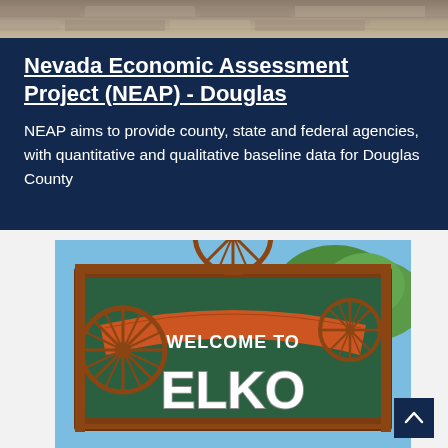[Figure (photo): Top banner photo showing a rocky/stone texture background]
Nevada Economic Assessment Project (NEAP) - Douglas
NEAP aims to provide county, state and federal agencies, with quantitative and qualitative baseline data for Douglas County
[Figure (photo): Photo of a Western-style welcome sign reading 'WELCOME TO ELKO' with wagon wheels on a decorative iron frame, with trees in the background]